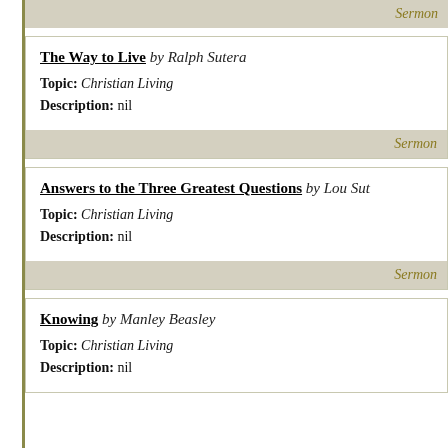Sermon
The Way to Live by Ralph Sutera
Topic: Christian Living
Description: nil
Sermon
Answers to the Three Greatest Questions by Lou Sut
Topic: Christian Living
Description: nil
Sermon
Knowing by Manley Beasley
Topic: Christian Living
Description: nil